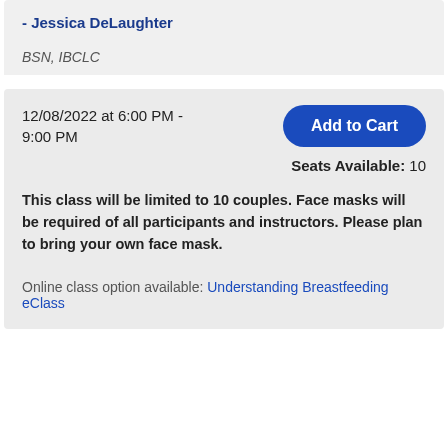- Jessica DeLaughter
BSN, IBCLC
12/08/2022 at 6:00 PM - 9:00 PM
Add to Cart
Seats Available: 10
This class will be limited to 10 couples. Face masks will be required of all participants and instructors. Please plan to bring your own face mask.
Online class option available: Understanding Breastfeeding eClass